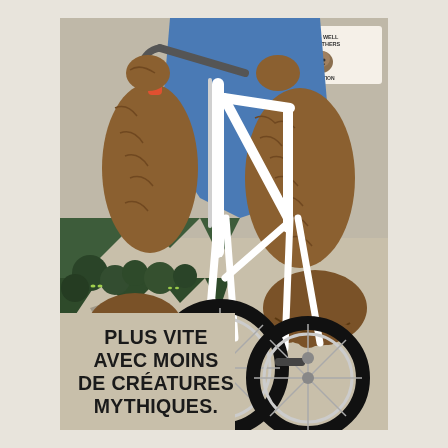[Figure (illustration): Vintage-style illustrated poster showing a close-up of a Bigfoot/Sasquatch creature (large hairy brown legs and feet) riding a road bicycle. The bicycle frame is white, tires black. The rider is wearing blue shorts and holding orange-grip handlebars. Background shows a forest road with mountains and green trees. A small logo in the top right reads 'PLAYS WELL WITH OTHERS' with a Bigfoot icon and 'INVENTION'.]
PLUS VITE AVEC MOINS DE CRÉATURES MYTHIQUES.